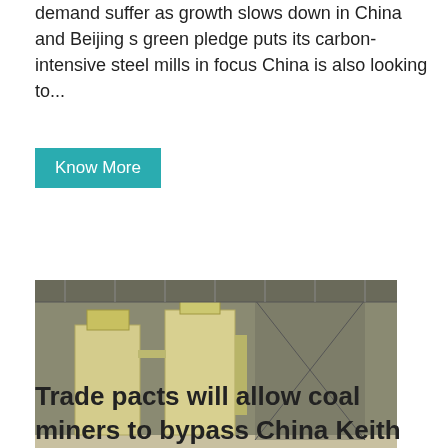demand suffer as growth slows down in China and Beijing s green pledge puts its carbon-intensive steel mills in focus China is also looking to...
Know More
[Figure (photo): Industrial facility interior showing large yellow/white industrial equipment or silos inside a warehouse structure with metal framework.]
Trade pacts will allow coal miners to bypass China Keith Pitt
Resources Minister Keith Pitt says Australian miners will find alternative markets if China remains firm over trade tensions saying the federal government will keep looking to open up new markets...